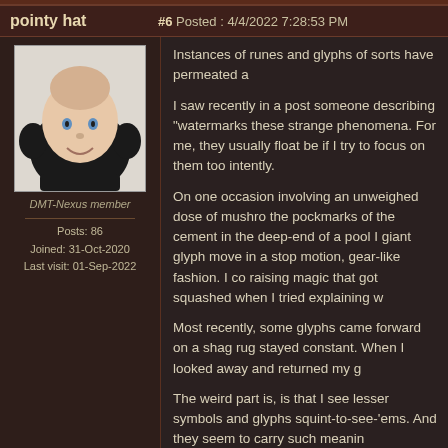pointy hat | #6 Posted : 4/4/2022 7:28:53 PM
[Figure (photo): Avatar image of a bald baby/doll head wearing a black helmet with ear covers, on a white background]
DMT-Nexus member
Posts: 86
Joined: 31-Oct-2020
Last visit: 01-Sep-2022
Instances of runes and glyphs of sorts have permeated a
I saw recently in a post someone describing "watermarks these strange phenomena. For me, they usually float be if I try to focus on them too intently.
On one occasion involving an unweighed dose of mushro the pockmarks of the cement in the deep-end of a pool I giant glyph move in a stop motion, gear-like fashion. I co raising magic that got squashed when I tried explaining w
Most recently, some glyphs came forward on a shag rug stayed constant. When I looked away and returned my g
The weird part is, is that I see lesser symbols and glyphs squint-to-see-'ems. And they seem to carry such meanin
Syragote | #7 Posted : 4/4/2022 11:36:52 PM
[Figure (photo): Avatar image with gold frame showing what appears to be a nature scene with grass or wheat]
These runes, glyphs and sigils are one of the most mysti